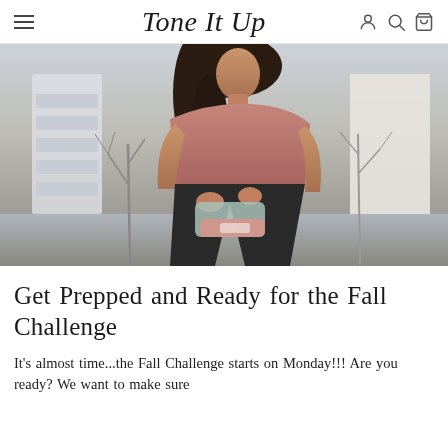Tone It Up
[Figure (photo): Woman with curly dark hair wearing a pink sports bra top and black leggings, crouching outdoors holding exercise resistance bands, with bare winter trees in the background.]
Get Prepped and Ready for the Fall Challenge
It's almost time...the Fall Challenge starts on Monday!!! Are you ready? We want to make sure